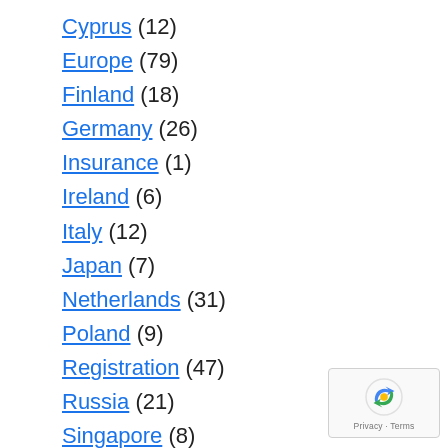Cyprus (12)
Europe (79)
Finland (18)
Germany (26)
Insurance (1)
Ireland (6)
Italy (12)
Japan (7)
Netherlands (31)
Poland (9)
Registration (47)
Russia (21)
Singapore (8)